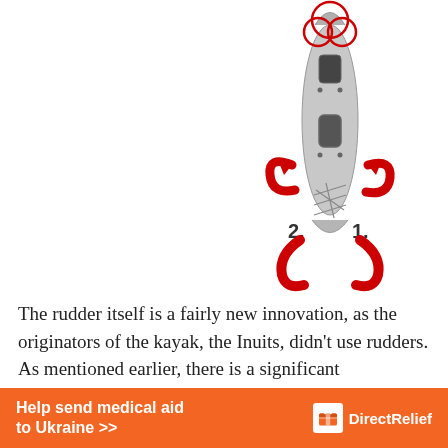[Figure (illustration): Top-down view of a kayak with red circled rudder mechanism at the top, and red curved arrows labeled '1.' and '2.' pointing to the rudder turning directions at the stern.]
The rudder itself is a fairly new innovation, as the originators of the kayak, the Inuits, didn't use rudders. As mentioned earlier, there is a significant
[Figure (infographic): Orange banner advertisement: 'Help send medical aid to Ukraine >>' with DirectRelief logo on the right.]